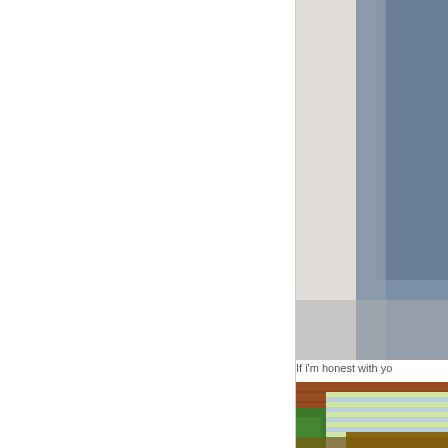[Figure (photo): Left panel: white/blank area occupying the left two-thirds of the page]
[Figure (photo): Top-right photo: partial view of a person in a blue/grey shirt against a light background]
If i'm honest with yo
[Figure (photo): Bottom-right photo: person wearing a blue and yellow striped shirt, crouching in a garden with brick wall and green plants in background, wearing brown shoes]